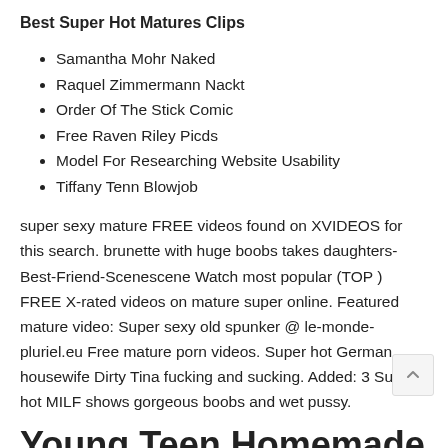Best Super Hot Matures Clips
Samantha Mohr Naked
Raquel Zimmermann Nackt
Order Of The Stick Comic
Free Raven Riley Picds
Model For Researching Website Usability
Tiffany Tenn Blowjob
super sexy mature FREE videos found on XVIDEOS for this search. brunette with huge boobs takes daughters-Best-Friend-Scenescene Watch most popular (TOP ) FREE X-rated videos on mature super online. Featured mature video: Super sexy old spunker @ le-monde-pluriel.eu Free mature porn videos. Super hot German housewife Dirty Tina fucking and sucking. Added: 3 Super hot MILF shows gorgeous boobs and wet pussy.
Young Teen Homemade Sex